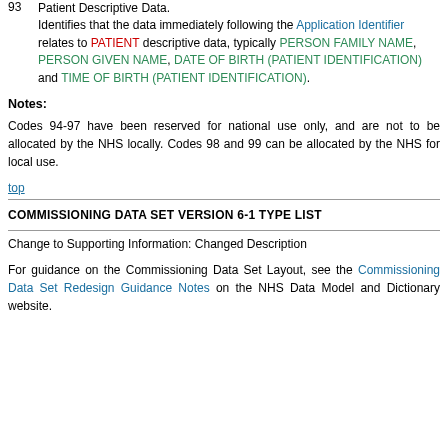93  Patient Descriptive Data. Identifies that the data immediately following the Application Identifier relates to PATIENT descriptive data, typically PERSON FAMILY NAME, PERSON GIVEN NAME, DATE OF BIRTH (PATIENT IDENTIFICATION) and TIME OF BIRTH (PATIENT IDENTIFICATION).
Notes:
Codes 94-97 have been reserved for national use only, and are not to be allocated by the NHS locally. Codes 98 and 99 can be allocated by the NHS for local use.
top
COMMISSIONING DATA SET VERSION 6-1 TYPE LIST
Change to Supporting Information: Changed Description
For guidance on the Commissioning Data Set Layout, see the Commissioning Data Set Redesign Guidance Notes on the NHS Data Model and Dictionary website.